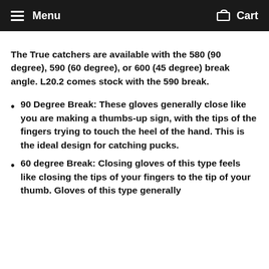Menu   Cart
The True catchers are available with the 580 (90 degree), 590 (60 degree), or 600 (45 degree) break angle. L20.2 comes stock with the 590 break.
90 Degree Break: These gloves generally close like you are making a thumbs-up sign, with the tips of the fingers trying to touch the heel of the hand. This is the ideal design for catching pucks.
60 degree Break: Closing gloves of this type feels like closing the tips of your fingers to the tip of your thumb. Gloves of this type generally